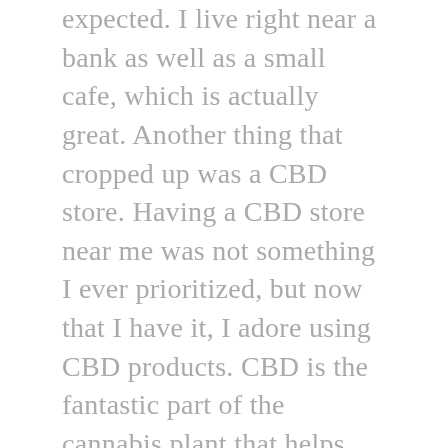expected. I live right near a bank as well as a small cafe, which is actually great. Another thing that cropped up was a CBD store. Having a CBD store near me was not something I ever prioritized, but now that I have it, I adore using CBD products. CBD is the fantastic part of the cannabis plant that helps with ailments to appreciate chronic pain, depression, nausea, seizures as well as all kinds of things. I head to the CBD shop for topical as well as oil based products. I appreciate using a CBD infused topical for muscle soreness after our workouts. I also enjoy the CBD oils that I put in my cup of tea. I have way better luck sleeping once I use the CBD oil. It is like living near a pharmacy but a much neater one. Currently I am in our final year at school. I could get a part time work to get some cash. I am looking at applying to the CBD store. I have learned all the products there